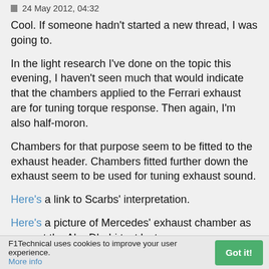24 May 2012, 04:32
Cool. If someone hadn't started a new thread, I was going to.
In the light research I've done on the topic this evening, I haven't seen much that would indicate that the chambers applied to the Ferrari exhaust are for tuning torque response. Then again, I'm also half-moron.
Chambers for that purpose seem to be fitted to the exhaust header. Chambers fitted further down the exhaust seem to be used for tuning exhaust sound.
Here's a link to Scarbs' interpretation.
Here's a picture of Mercedes' exhaust chamber as seen at the Abu Dhabi test last year.
F1Technical uses cookies to improve your user experience. More info  Got it!